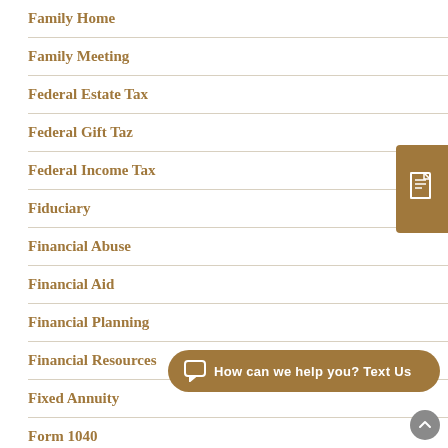Family Home
Family Meeting
Federal Estate Tax
Federal Gift Taz
Federal Income Tax
Fiduciary
Financial Abuse
Financial Aid
Financial Planning
Financial Resources
Fixed Annuity
Form 1040
Fraud